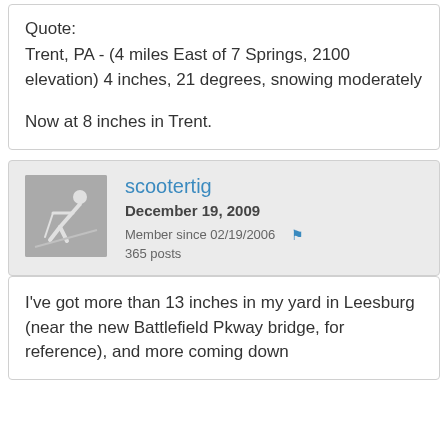Quote:
Trent, PA - (4 miles East of 7 Springs, 2100 elevation) 4 inches, 21 degrees, snowing moderately
Now at 8 inches in Trent.
[Figure (illustration): User avatar showing a skier silhouette on gray background]
scootertig
December 19, 2009
Member since 02/19/2006   365 posts
I've got more than 13 inches in my yard in Leesburg (near the new Battlefield Pkway bridge, for reference), and more coming down